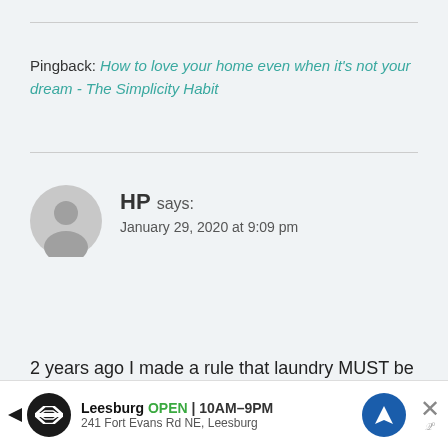Pingback: How to love your home even when it's not your dream - The Simplicity Habit
HP says: January 29, 2020 at 9:09 pm
2 years ago I made a rule that laundry MUST be folded and put away immediately after it leaves the dryer. I start a load of laundry as soon as there is enough to wash. It significantly reduces the stress of
[Figure (infographic): Advertisement banner for Leesburg store showing logo, open hours 10AM-9PM, address 241 Fort Evans Rd NE Leesburg, navigation icon, and close button]